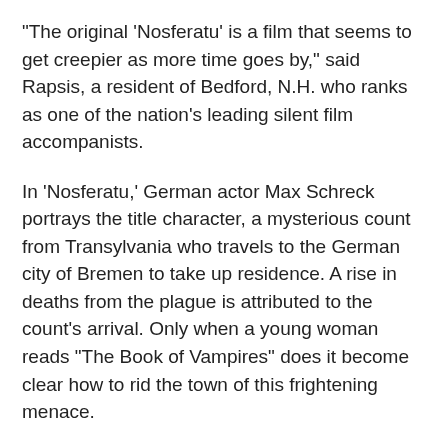"The original 'Nosferatu' is a film that seems to get creepier as more time goes by," said Rapsis, a resident of Bedford, N.H. who ranks as one of the nation's leading silent film accompanists.
In 'Nosferatu,' German actor Max Schreck portrays the title character, a mysterious count from Transylvania who travels to the German city of Bremen to take up residence. A rise in deaths from the plague is attributed to the count's arrival. Only when a young woman reads "The Book of Vampires" does it become clear how to rid the town of this frightening menace.
Director F.W. Murnau told the story with strange camera angles, weird lighting, and special effects that include sequences deliberately speeded up.
Although 'Nosferatu' is suitable for all family members, the overall program may be too much for very young children to enjoy.
Modern critics say the original 'Nosferatu' still packs a